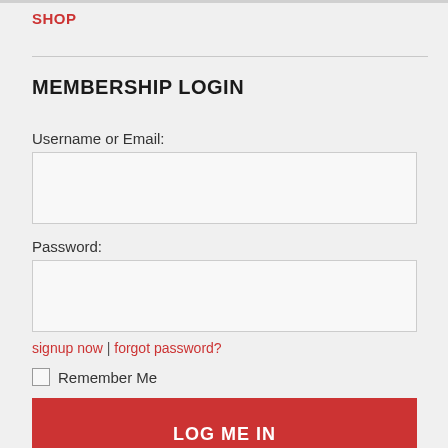SHOP
MEMBERSHIP LOGIN
Username or Email:
Password:
signup now | forgot password?
Remember Me
LOG ME IN
RECENT BLOG POSTS